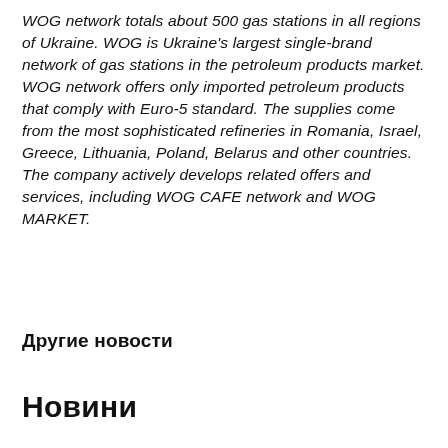WOG network totals about 500 gas stations in all regions of Ukraine. WOG is Ukraine's largest single-brand network of gas stations in the petroleum products market. WOG network offers only imported petroleum products that comply with Euro-5 standard. The supplies come from the most sophisticated refineries in Romania, Israel, Greece, Lithuania, Poland, Belarus and other countries. The company actively develops related offers and services, including WOG CAFE network and WOG MARKET.
Другие новости
Новини